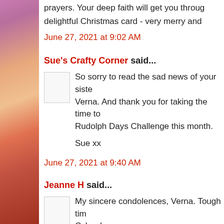prayers. Your deep faith will get you through. delightful Christmas card - very merry and
June 27, 2021 at 9:02 AM
Sue's Crafty Corner said...
So sorry to read the sad news of your siste Verna. And thank you for taking the time to Rudolph Days Challenge this month.

Sue xx
June 27, 2021 at 9:40 AM
Jeanne H said...
My sincere condolences, Verna. Tough tim Cyber hugs.